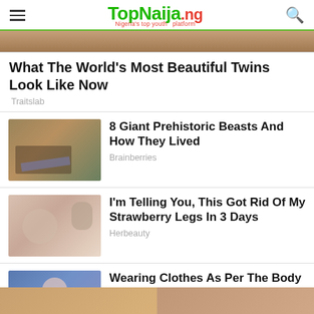TopNaija.ng — Nigeria's top youth platform
[Figure (photo): Cropped top portion of an image visible at top of page]
What The World's Most Beautiful Twins Look Like Now
Traitslab
[Figure (photo): Prehistoric ocean scene with shark and diorama figures]
8 Giant Prehistoric Beasts And How They Lived
Brainberries
[Figure (photo): Woman with beauty product near her face]
I'm Telling You, This Got Rid Of My Strawberry Legs In 3 Days
Herbeauty
[Figure (photo): Young woman in blue cardigan smiling]
Wearing Clothes As Per The Body Type Makes You Love Your Own Body
Herbeauty
[Figure (photo): Bottom strip showing two partial images]